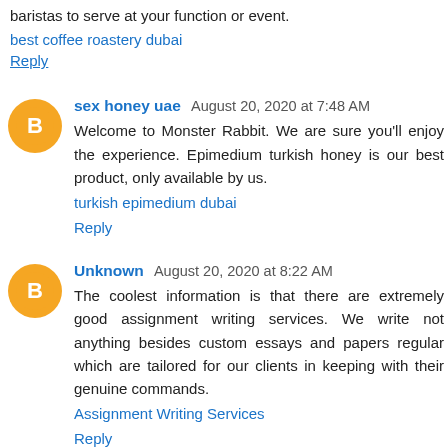baristas to serve at your function or event.
best coffee roastery dubai
Reply
sex honey uae  August 20, 2020 at 7:48 AM
Welcome to Monster Rabbit. We are sure you'll enjoy the experience. Epimedium turkish honey is our best product, only available by us.
turkish epimedium dubai
Reply
Unknown  August 20, 2020 at 8:22 AM
The coolest information is that there are extremely good assignment writing services. We write not anything besides custom essays and papers regular which are tailored for our clients in keeping with their genuine commands.
Assignment Writing Services
Reply